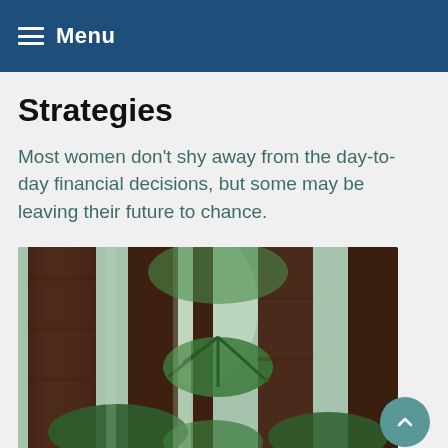Menu
Strategies
Most women don’t shy away from the day-to-day financial decisions, but some may be leaving their future to chance.
[Figure (photo): A forest of tall redwood trees with ferns and tree ferns in the understory, green foliage, natural light filtering through.]